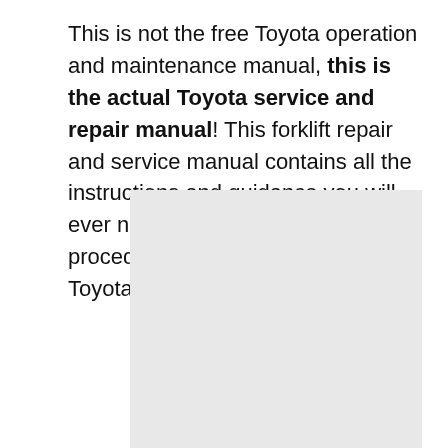This is not the free Toyota operation and maintenance manual, this is the actual Toyota service and repair manual! This forklift repair and service manual contains all the instructions and guidance you will ever need to perform every procedure imaginable on your Toyota 6BNCU17 Forklift.
[Figure (photo): A light gray placeholder image representing a page or figure from the Toyota 6BNCU17 Forklift service and repair manual.]